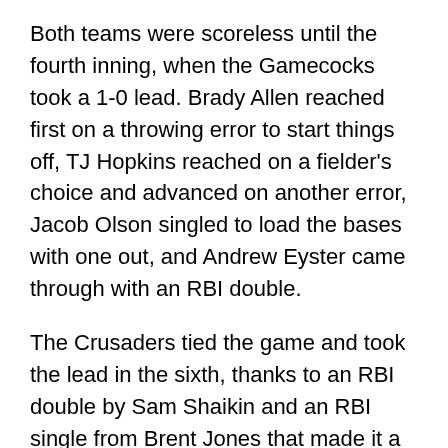Both teams were scoreless until the fourth inning, when the Gamecocks took a 1-0 lead. Brady Allen reached first on a throwing error to start things off, TJ Hopkins reached on a fielder's choice and advanced on another error, Jacob Olson singled to load the bases with one out, and Andrew Eyster came through with an RBI double.
The Crusaders tied the game and took the lead in the sixth, thanks to an RBI double by Sam Shaikin and an RBI single from Brent Jones that made it a 2-1 game. That score held until the ninth inning, when Luke Berryhill and Olson hit back-to-back homers that tied the game and then gave USC the walkoff win.
Gamecocks starter Reid Morgan had another terrific outing, working 8.2 innings and allowing seven hits but